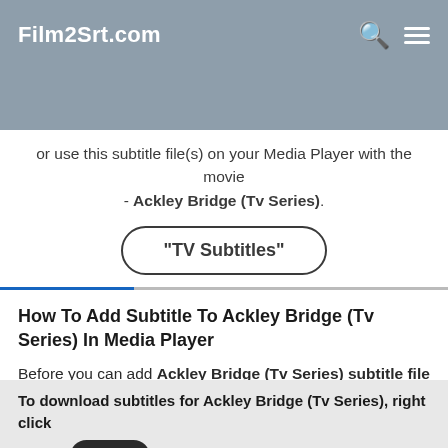Film2Srt.com
or use this subtitle file(s) on your Media Player with the movie - Ackley Bridge (Tv Series).
[Figure (other): Button labeled "TV Subtitles" with rounded pill border]
How To Add Subtitle To Ackley Bridge (Tv Series) In Media Player
Before you can add Ackley Bridge (Tv Series) subtitle file file to the movie, you should make sure the exact SRT file for the particular movie format is downloaded from Film2Srt.com .
To download subtitles for Ackley Bridge (Tv Series), right click on the Black button above with your preferred